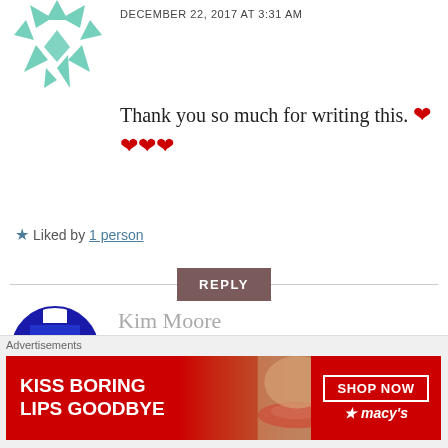[Figure (illustration): Teal/mint colored geometric star/arrow avatar icon (partial, top of page)]
DECEMBER 22, 2017 AT 3:31 AM
Thank you so much for writing this. ❤❤❤❤
★ Liked by 1 person
REPLY
[Figure (illustration): Blue circular avatar with cross/plus pattern (Kim Moore profile picture)]
Kim Moore
DECEMBER 22, 2017 AT 4:56 PM
This is so true 100%
Advertisements
[Figure (photo): Macy's advertisement banner: KISS BORING LIPS GOODBYE with SHOP NOW button and Macy's star logo, red background with model photo]